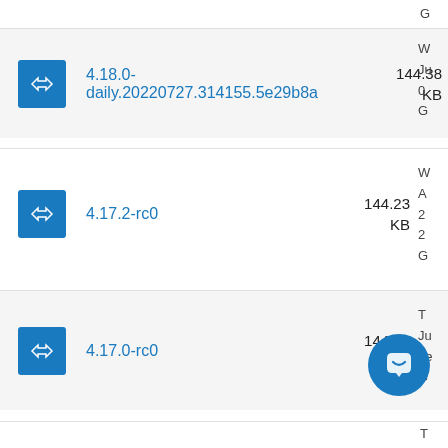| Icon | Version | Size | Info |
| --- | --- | --- | --- |
| [icon] | 4.18.0-daily.20220727.314155.5e29b8a | 144.38 KB | G
W
Ju
0
G |
| [icon] | 4.17.2-rc0 | 144.23 KB | W
A
2
2
G |
| [icon] | 4.17.0-rc0 | 144.25 KB | T
Ju
1e
G |